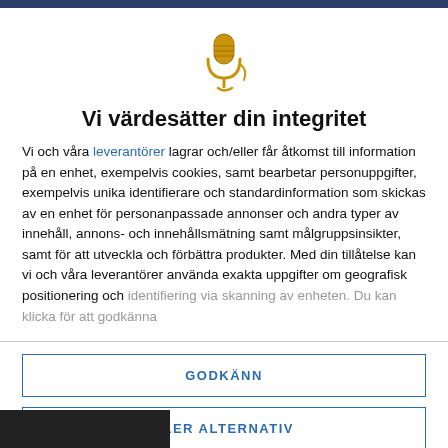[Figure (illustration): Golden microphone icon with cord]
Vi värdesätter din integritet
Vi och våra leverantörer lagrar och/eller får åtkomst till information på en enhet, exempelvis cookies, samt bearbetar personuppgifter, exempelvis unika identifierare och standardinformation som skickas av en enhet för personanpassade annonser och andra typer av innehåll, annons- och innehållsmätning samt målgruppsinsikter, samt för att utveckla och förbättra produkter. Med din tillåtelse kan vi och våra leverantörer använda exakta uppgifter om geografisk positionering och identifiering via skanning av enheten. Du kan klicka för att godkänna
GODKÄNN
FLER ALTERNATIV